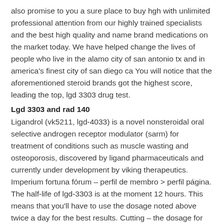also promise to you a sure place to buy hgh with unlimited professional attention from our highly trained specialists and the best high quality and name brand medications on the market today. We have helped change the lives of people who live in the alamo city of san antonio tx and in america's finest city of san diego ca You will notice that the aforementioned steroid brands got the highest score, leading the top, lgd 3303 drug test.
Lgd 3303 and rad 140
Ligandrol (vk5211, lgd-4033) is a novel nonsteroidal oral selective androgen receptor modulator (sarm) for treatment of conditions such as muscle wasting and osteoporosis, discovered by ligand pharmaceuticals and currently under development by viking therapeutics. Imperium fortuna fórum – perfil de membro > perfil página. The half-life of lgd-3303 is at the moment 12 hours. This means that you'll have to use the dosage noted above twice a day for the best results. Cutting – the dosage for lgd-3303 is still being fine-tuned as research on the drug continues. I plan to use 3303 soon and i'll review it on here. I've been a bit frustrated with the lack of logs and reviews on it all around the internet but it's probably for the same reason i've put off trying because it's only available from a select few sarm dealers and i find it annoying that ea finally releases it and instead of 5mg caps they made them 3mg. Lgd 3303 can help people to gain healthy mass. It can also strengthen bones. The impact on the size of the muscle and subsequently its strength is the primary